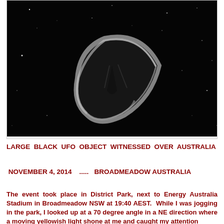[Figure (photo): Night sky photograph showing a large dark triangular/wedge-shaped UFO object against a black starry sky background. The object appears grayish-white in outline with a dark center, roughly triangular or fan-shaped, positioned center-left of the image.]
LARGE BLACK UFO OBJECT WITNESSED OVER AUSTRALIA
NOVEMBER 4, 2014   .....   BROADMEADOW AUSTRALIA
The event took place in District Park, next to Energy Australia Stadium in Broadmeadow NSW at 19:40 AEST.  While I was jogging in the park, I looked up at a 70 degree angle in a NE direction where a moving yellowish light shone at me and caught my attention